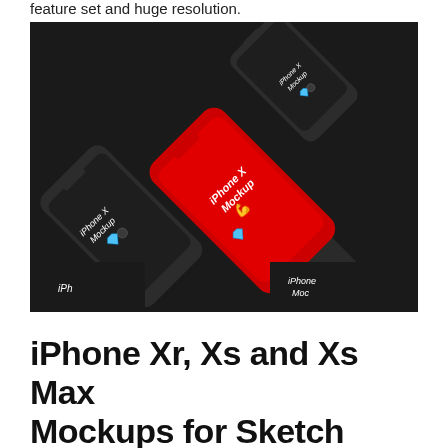feature set and huge resolution.
[Figure (photo): Multiple iPhone X mockup devices arranged diagonally on a dark background. Several dark-colored phones and one prominent red phone in the center, all showing 'iPhone X Mockup' text on their screens with emoji icons including a gem and a bowling ball. The phones are in a flat-lay perspective rotated at an angle.]
iPhone Xr, Xs and Xs Max Mockups for Sketch